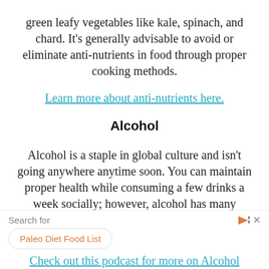green leafy vegetables like kale, spinach, and chard. It's generally advisable to avoid or eliminate anti-nutrients in food through proper cooking methods.
Learn more about anti-nutrients here.
Alcohol
Alcohol is a staple in global culture and isn't going anywhere anytime soon. You can maintain proper health while consuming a few drinks a week socially; however, alcohol has many downsides, especially if you have the specific goal of losing weight.
Check out this podcast for more on Alcohol